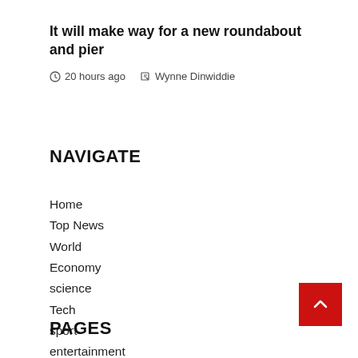It will make way for a new roundabout and pier
20 hours ago  Wynne Dinwiddie
NAVIGATE
Home
Top News
World
Economy
science
Tech
sport
entertainment
PAGES